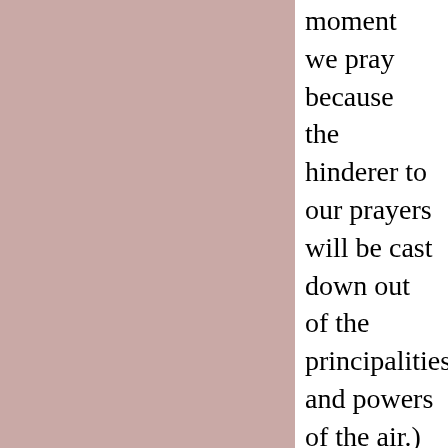moment we pray because the hinderer to our prayers will be cast down out of the principalities and powers of the air.)
11
And they